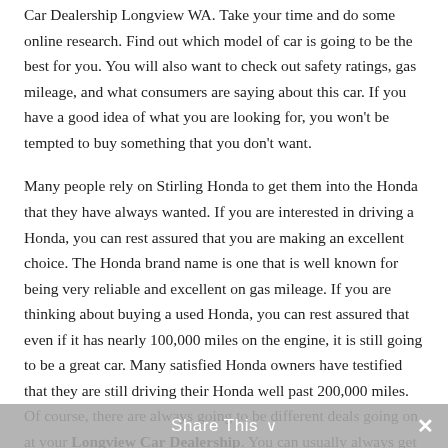Car Dealership Longview WA. Take your time and do some online research. Find out which model of car is going to be the best for you. You will also want to check out safety ratings, gas mileage, and what consumers are saying about this car. If you have a good idea of what you are looking for, you won't be tempted to buy something that you don't want.
Many people rely on Stirling Honda to get them into the Honda that they have always wanted. If you are interested in driving a Honda, you can rest assured that you are making an excellent choice. The Honda brand name is one that is well known for being very reliable and excellent on gas mileage. If you are thinking about buying a used Honda, you can rest assured that even if it has nearly 100,000 miles on the engine, it is still going to be a great car. Many satisfied Honda owners have testified that they are still driving their Honda well past 200,000 miles.
Of course, there are always going to be different deals going on at your Longview Car Dealership. You can usually always get a